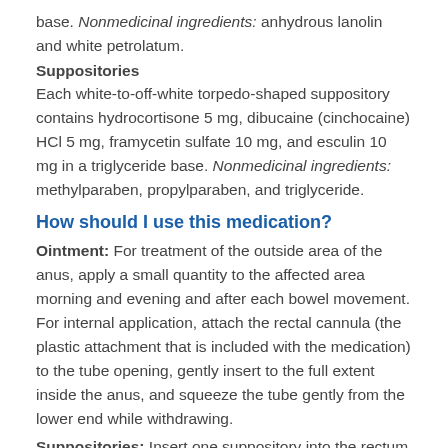base. Nonmedicinal ingredients: anhydrous lanolin and white petrolatum.
Suppositories
Each white-to-off-white torpedo-shaped suppository contains hydrocortisone 5 mg, dibucaine (cinchocaine) HCl 5 mg, framycetin sulfate 10 mg, and esculin 10 mg in a triglyceride base. Nonmedicinal ingredients: methylparaben, propylparaben, and triglyceride.
How should I use this medication?
Ointment: For treatment of the outside area of the anus, apply a small quantity to the affected area morning and evening and after each bowel movement. For internal application, attach the rectal cannula (the plastic attachment that is included with the medication) to the tube opening, gently insert to the full extent inside the anus, and squeeze the tube gently from the lower end while withdrawing.
Suppositories: Insert one suppository into the rectum morning